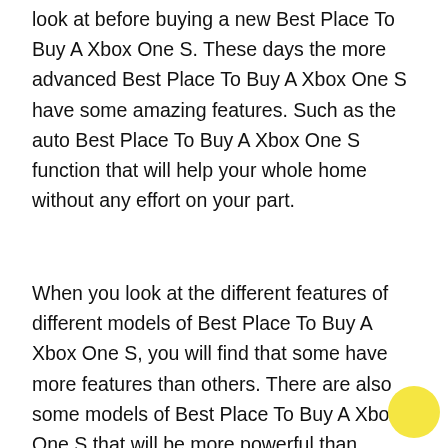look at before buying a new Best Place To Buy A Xbox One S. These days the more advanced Best Place To Buy A Xbox One S have some amazing features. Such as the auto Best Place To Buy A Xbox One S function that will help your whole home without any effort on your part.
When you look at the different features of different models of Best Place To Buy A Xbox One S, you will find that some have more features than others. There are also some models of Best Place To Buy A Xbox One S that will be more powerful than others.